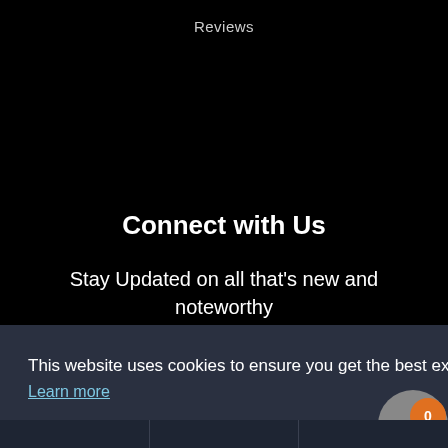Reviews
Connect with Us
Stay Updated on all that's new and noteworthy
Email Add...
This website uses cookies to ensure you get the best experience on our website.
Learn more
Got it